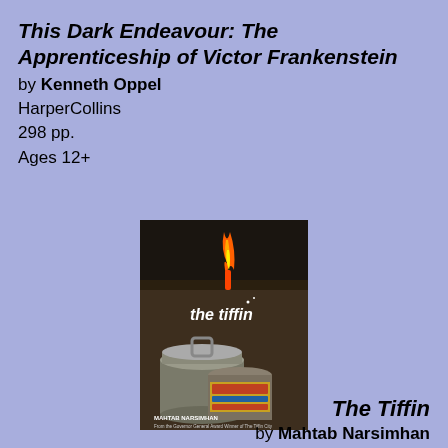This Dark Endeavour: The Apprenticeship of Victor Frankenstein
by Kenneth Oppel
HarperCollins
298 pp.
Ages 12+
[Figure (photo): Book cover of 'The Tiffin' by Mahtab Narsimhan, showing metal tiffin containers with flame, dark and gritty styling]
The Tiffin
by Mahtab Narsimhan